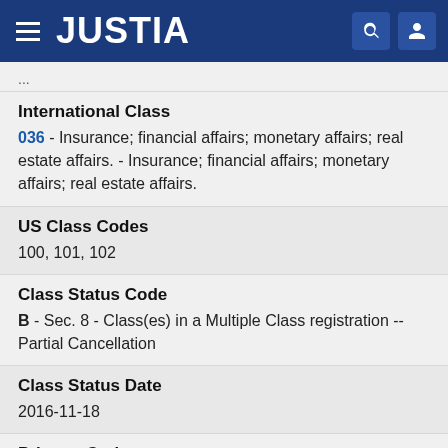JUSTIA
...
International Class
036 - Insurance; financial affairs; monetary affairs; real estate affairs. - Insurance; financial affairs; monetary affairs; real estate affairs.
US Class Codes
100, 101, 102
Class Status Code
B - Sec. 8 - Class(es) in a Multiple Class registration -- Partial Cancellation
Class Status Date
2016-11-18
Primary Code